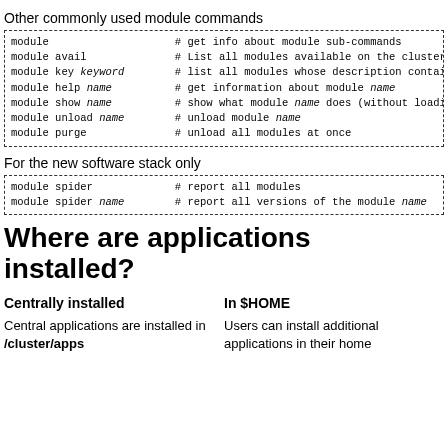Other commonly used module commands
module   # get info about module sub-commands
module avail   # List all modules available on the cluster
module key keyword   # list all modules whose description contain
module help name   # get information about module name
module show name   # show what module name does (without loading)
module unload name   # unload module name
module purge   # unload all modules at once
For the new software stack only
module spider   # report all modules
module spider name   # report all versions of the module name
Where are applications installed?
Centrally installed
In $HOME
Central applications are installed in /cluster/apps
Users can install additional applications in their home